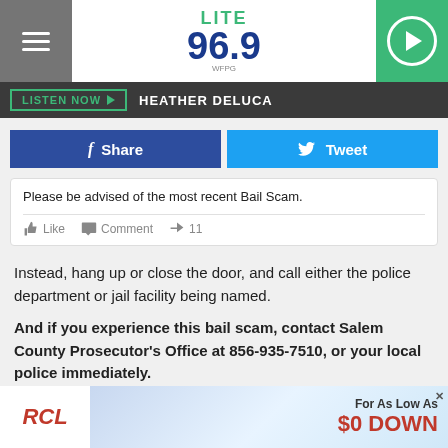[Figure (screenshot): Lite 96.9 WFPG radio station website header with hamburger menu, logo, and play button]
LISTEN NOW  HEATHER DELUCA
Share   Tweet
Please be advised of the most recent Bail Scam.
Like  Comment  11
Instead, hang up or close the door, and call either the police department or jail facility being named.
And if you experience this bail scam, contact Salem County Prosecutor's Office at 856-935-7510, or your local police immediately.
[Figure (photo): RCL advertisement banner: For As Low As $0 DOWN]